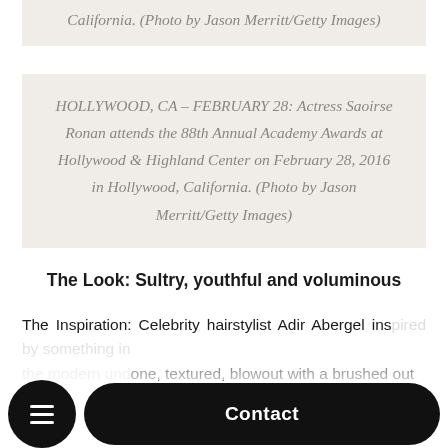California. (Photo by Jason Merritt/Getty Images)
HOLLYWOOD, CA – FEBRUARY 28: Actress Saoirse Ronan attends the 88th Annual Academy Awards at Hollywood & Highland Center on February 28, 2016 in Hollywood, California. (Photo by Jason Merritt/Getty Images)
The Look: Sultry, youthful and voluminous
The Inspiration: Celebrity hairstylist Adir Abergel ins... n undone, textured, blowout with a brushed out